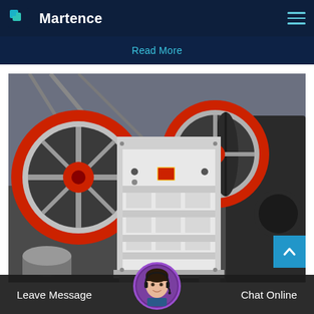Martence
Read More
[Figure (photo): Industrial jaw crusher machine with two large red-rimmed flywheels and a white painted steel frame, photographed in a factory/industrial setting]
Leave Message
Chat Online